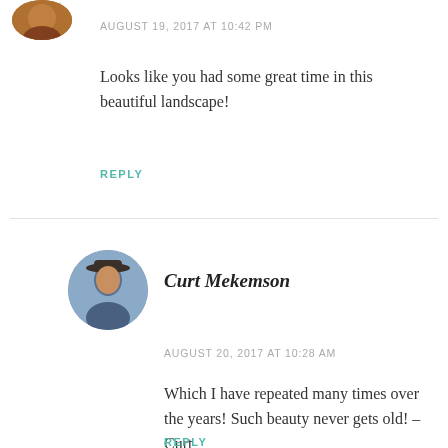[Figure (photo): Partial circular avatar photo of a person, cropped at top of page]
AUGUST 19, 2017 AT 10:42 PM
Looks like you had some great time in this beautiful landscape!
REPLY
[Figure (photo): Circular avatar photo of Curt Mekemson wearing a hat]
Curt Mekemson
AUGUST 20, 2017 AT 10:28 AM
Which I have repeated many times over the years! Such beauty never gets old! – Curt
REPLY